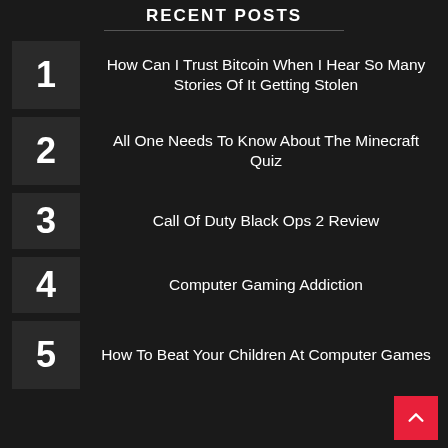RECENT POSTS
1 How Can I Trust Bitcoin When I Hear So Many Stories Of It Getting Stolen
2 All One Needs To Know About The Minecraft Quiz
3 Call Of Duty Black Ops 2 Review
4 Computer Gaming Addiction
5 How To Beat Your Children At Computer Games